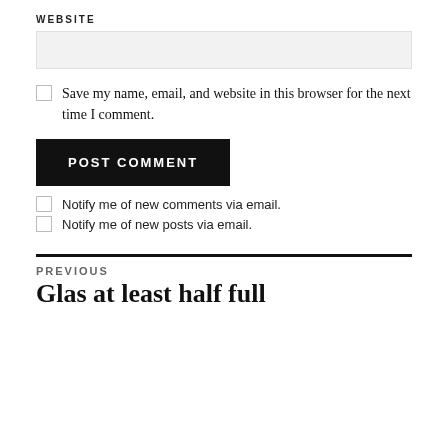WEBSITE
[Figure (other): Website text input field, empty, light gray background]
Save my name, email, and website in this browser for the next time I comment.
POST COMMENT
Notify me of new comments via email.
Notify me of new posts via email.
PREVIOUS
Glas at least half full